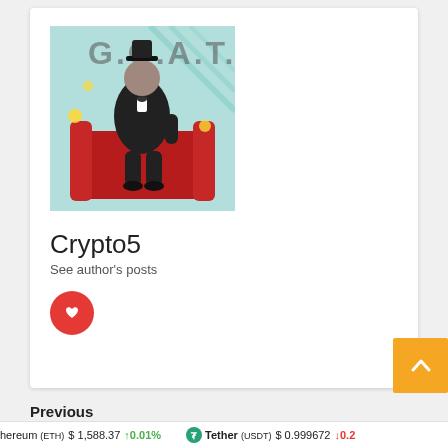[Figure (photo): Stylized illustration of a person in a suit and top hat sitting in a red armchair, with 'G.O.A.T.' text in background and gold coins]
Crypto5
See author's posts
[Figure (illustration): Red circle button with a white heart/bookmark icon inside]
[Figure (other): Yellow/orange scroll-to-top button with a caret up symbol]
Previous
hereum (ETH) $1,588.37 ↑0.01%  Tether (USDT) $0.999672 ↓0.2